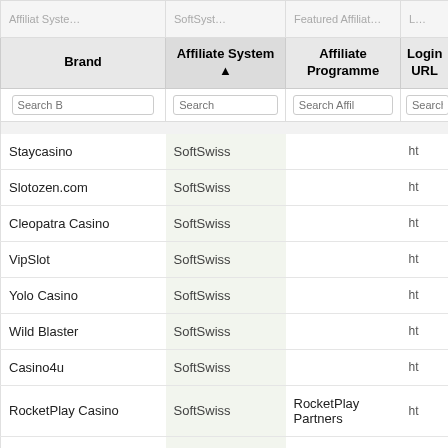| Brand | Affiliate System | Affiliate Programme | Login URL |
| --- | --- | --- | --- |
| Staycasino | SoftSwiss |  | ht |
| Slotozen.com | SoftSwiss |  | ht |
| Cleopatra Casino | SoftSwiss |  | ht |
| VipSlot | SoftSwiss |  | ht |
| Yolo Casino | SoftSwiss |  | ht |
| Wild Blaster | SoftSwiss |  | ht |
| Casino4u | SoftSwiss |  | ht |
| RocketPlay Casino | SoftSwiss | RocketPlay Partners | ht |
| Club Riches | SoftSwiss |  | ht |
| Parimatchwin | SoftSwiss |  | ht |
| North Casino | SoftSwiss |  | ht |